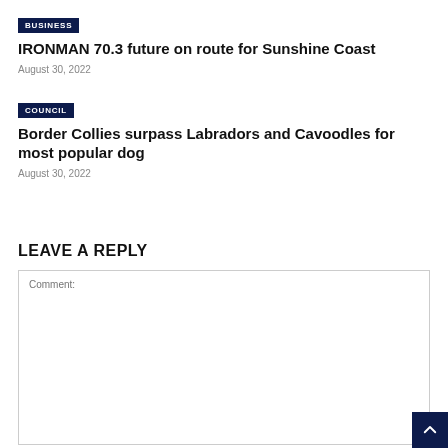BUSINESS
IRONMAN 70.3 future on route for Sunshine Coast
August 30, 2022
COUNCIL
Border Collies surpass Labradors and Cavoodles for most popular dog
August 30, 2022
LEAVE A REPLY
Comment: